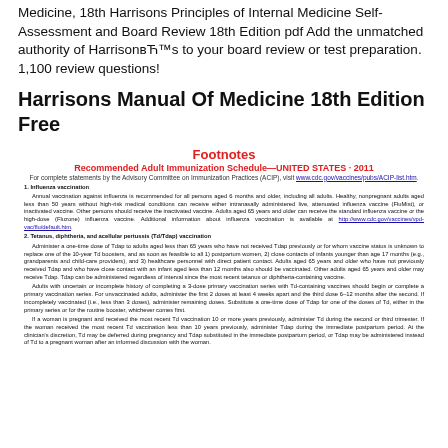Medicine, 18th Harrisons Principles of Internal Medicine Self-Assessment and Board Review 18th Edition pdf Add the unmatched authority of Harrison's to your board review or test preparation. 1,100 review questions!
Harrisons Manual Of Medicine 18th Edition Free
[Figure (infographic): Footnotes image showing Recommended Adult Immunization Schedule—UNITED STATES 2011, with details on influenza vaccination and tetanus, diphtheria, and acellular pertussis (Td/Tdap) vaccination.]